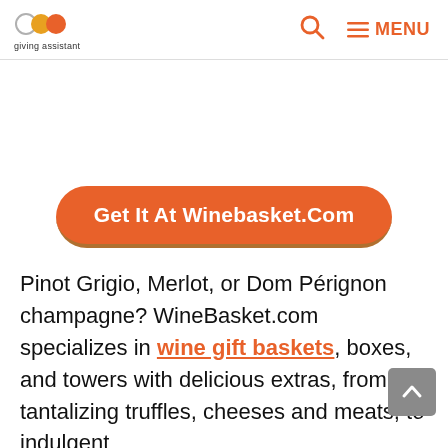giving assistant | search | MENU
[Figure (other): White blank space / advertisement area]
[Figure (other): Orange rounded button with text: Get It At Winebasket.Com]
Pinot Grigio, Merlot, or Dom Pérignon champagne? WineBasket.com specializes in wine gift baskets, boxes, and towers with delicious extras, from tantalizing truffles, cheeses and meats, to indulgent